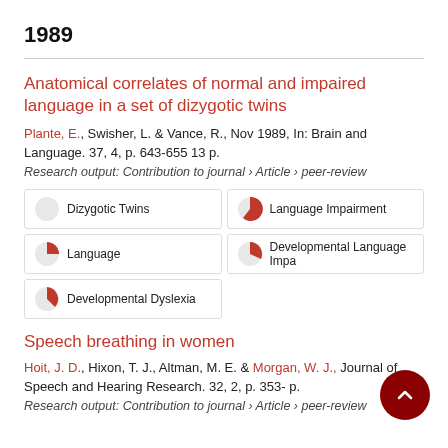1989
Anatomical correlates of normal and impaired language in a set of dizygotic twins
Plante, E., Swisher, L. & Vance, R., Nov 1989, In: Brain and Language. 37, 4, p. 643-655 13 p.
Research output: Contribution to journal › Article › peer-review
Dizygotic Twins
Language Impairment
Language
Developmental Language Impa
Developmental Dyslexia
Speech breathing in women
Hoit, J. D., Hixon, T. J., Altman, M. E. & Morgan, W. J., Journal of Speech and Hearing Research. 32, 2, p. 353- p.
Research output: Contribution to journal › Article › peer-review